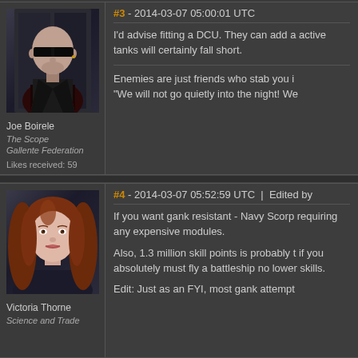[Figure (photo): Avatar of Joe Boirele - male character with shaved head and dark sunglasses, wearing black and red outfit]
Joe Boirele
The Scope
Gallente Federation
Likes received: 59
#3 - 2014-03-07 05:00:01 UTC
I'd advise fitting a DCU. They can add a active tanks will certainly fall short.
Enemies are just friends who stab you i "We will not go quietly into the night! We
[Figure (photo): Avatar of Victoria Thorne - female character with long red/auburn hair]
Victoria Thorne
Science and Trade
#4 - 2014-03-07 05:52:59 UTC | Edited by
If you want gank resistant - Navy Scorp requiring any expensive modules.
Also, 1.3 million skill points is probably t if you absolutely must fly a battleship no lower skills.
Edit: Just as an FYI, most gank attempt